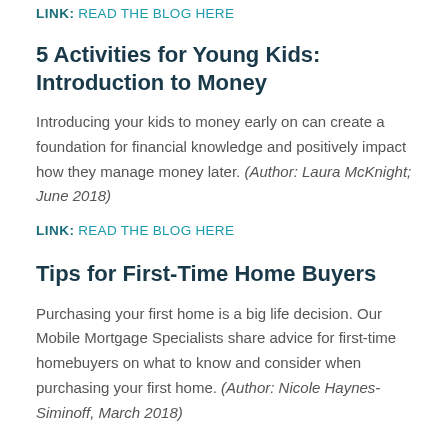LINK: READ THE BLOG HERE
5 Activities for Young Kids: Introduction to Money
Introducing your kids to money early on can create a foundation for financial knowledge and positively impact how they manage money later. (Author: Laura McKnight; June 2018)
LINK: READ THE BLOG HERE
Tips for First-Time Home Buyers
Purchasing your first home is a big life decision. Our Mobile Mortgage Specialists share advice for first-time homebuyers on what to know and consider when purchasing your first home. (Author: Nicole Haynes-Siminoff, March 2018)